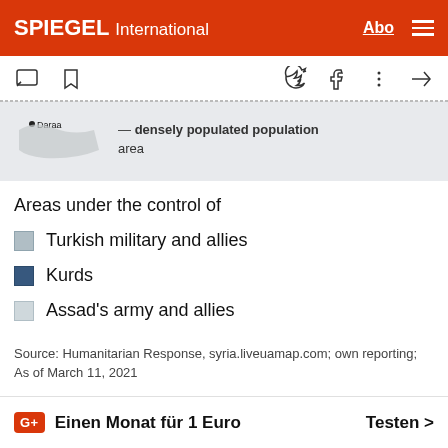SPIEGEL International
[Figure (map): Partial map of Syria showing Daraa region with shaded area indicating densely populated population area]
Areas under the control of
Turkish military and allies
Kurds
Assad's army and allies
Source: Humanitarian Response, syria.liveuamap.com; own reporting; As of March 11, 2021
G+ Einen Monat für 1 Euro   Testen >